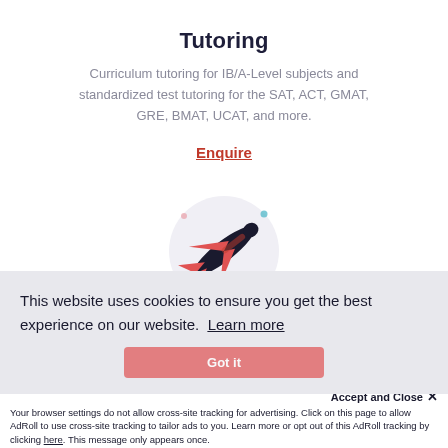Tutoring
Curriculum tutoring for IB/A-Level subjects and standardized test tutoring for the SAT, ACT, GMAT, GRE, BMAT, UCAT, and more.
Enquire
[Figure (illustration): Airplane icon on a light circle background with small decorative dot accents]
This website uses cookies to ensure you get the best experience on our website. Learn more
Accept and Close ✕
Your browser settings do not allow cross-site tracking for advertising. Click on this page to allow AdRoll to use cross-site tracking to tailor ads to you. Learn more or opt out of this AdRoll tracking by clicking here. This message only appears once.